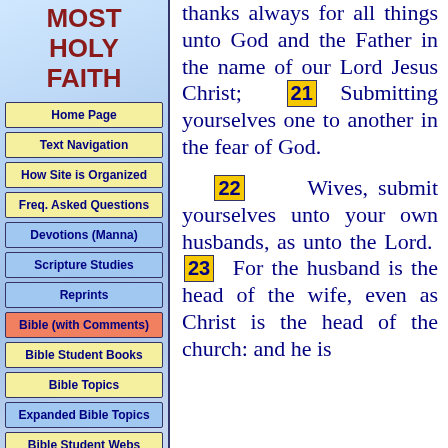MOST HOLY FAITH
Home Page
Text Navigation
How Site is Organized
Freq. Asked Questions
Devotions (Manna)
Scripture Studies
Reprints
Bible (with Comments)
Bible Student Books
Bible Topics
Expanded Bible Topics
Bible Student Webs
Miscellaneous
thanks always for all things unto God and the Father in the name of our Lord Jesus Christ; 21 Submitting yourselves one to another in the fear of God. 22 Wives, submit yourselves unto your own husbands, as unto the Lord. 23 For the husband is the head of the wife, even as Christ is the head of the church: and he is